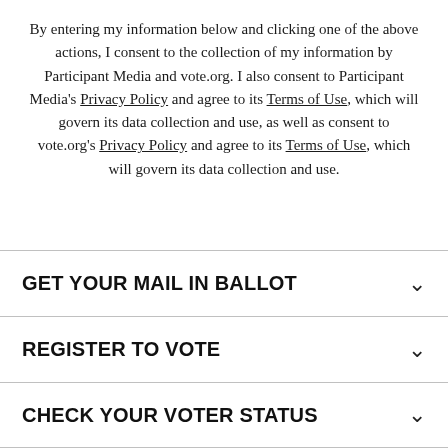By entering my information below and clicking one of the above actions, I consent to the collection of my information by Participant Media and vote.org. I also consent to Participant Media's Privacy Policy and agree to its Terms of Use, which will govern its data collection and use, as well as consent to vote.org's Privacy Policy and agree to its Terms of Use, which will govern its data collection and use.
GET YOUR MAIL IN BALLOT
REGISTER TO VOTE
CHECK YOUR VOTER STATUS